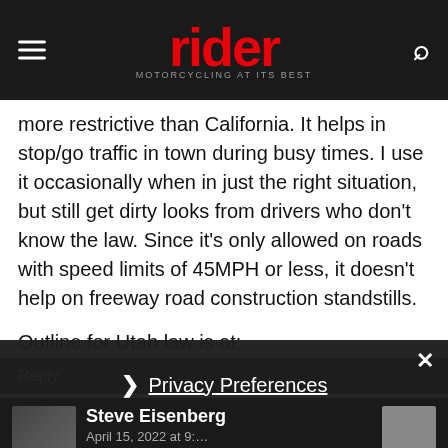rider MOTORCYCLING AT ITS BEST
more restrictive than California. It helps in stop/go traffic in town during busy times. I use it occasionally when in just the right situation, but still get dirty looks from drivers who don't know the law. Since it's only allowed on roads with speed limits of 45MPH or less, it doesn't help on freeway road construction standstills.
Outline for Utah law is at:
https://ridetolive.utah.gov/lane-filtering/
Reply
Privacy Preferences
I Agree
Steve Eisenberg
April 15, 2022 at 9:…
One of the most dangerous things I can think